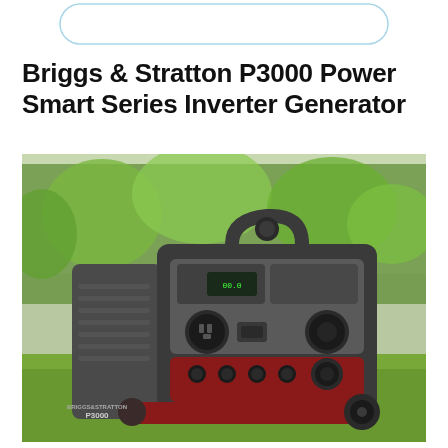[Figure (other): Decorative rounded rectangle border graphic at top of page, light blue outline]
Briggs & Stratton P3000 Power Smart Series Inverter Generator
[Figure (photo): Photograph of a Briggs & Stratton P3000 Power Smart Series Inverter Generator outdoors on grass with trees in the background. The generator is grey and red with a control panel showing outlets and switches visible on the front face.]